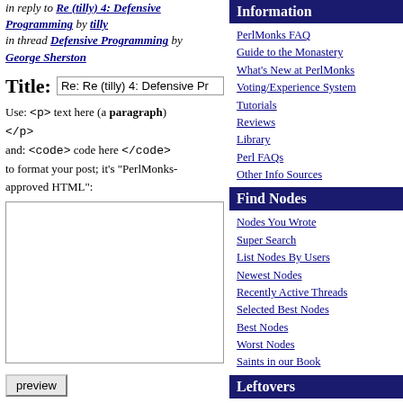in reply to Re (tilly) 4: Defensive Programming by tilly in thread Defensive Programming by George Sherston
Title: Re: Re (tilly) 4: Defensive Pr
Use: <p> text here (a paragraph) </p> and: <code> code here </code> to format your post; it's "PerlMonks-approved HTML":
[Figure (screenshot): Empty textarea input box for post content]
preview
Are you posting in the right place? Check out Where do I post X? to know for sure.
Information
PerlMonks FAQ
Guide to the Monastery
What's New at PerlMonks
Voting/Experience System
Tutorials
Reviews
Library
Perl FAQs
Other Info Sources
Find Nodes
Nodes You Wrote
Super Search
List Nodes By Users
Newest Nodes
Recently Active Threads
Selected Best Nodes
Best Nodes
Worst Nodes
Saints in our Book
Leftovers
The St. Larry Wall Shrine
Buy PerlMonks Gear
Offering Plate
Awards
Random Node
Quests
Craft